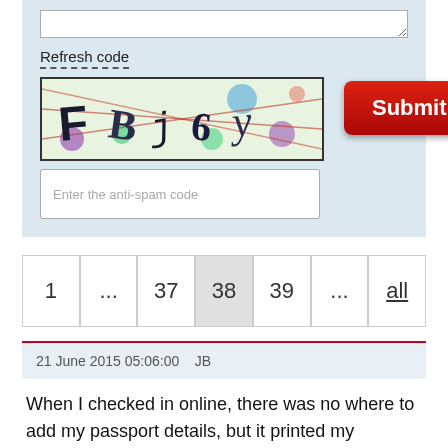[Figure (screenshot): Comment form area with textarea, CAPTCHA refresh code image showing 'FBj6y', anti-spam code input field, and red Submit button]
Refresh code
[Figure (other): CAPTCHA image showing distorted letters FBj6y with colorful dots and diagonal lines]
Enter the anti-spam code
1 ... 37 38 39 ... all
21 June 2015 05:06:00    JB
When I checked in online, there was no where to add my passport details, but it printed my boarding pass. Will I be able to travel? Please reply if this happened to you
Reply